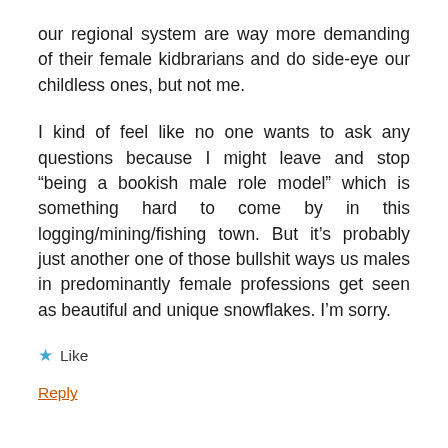our regional system are way more demanding of their female kidbrarians and do side-eye our childless ones, but not me.
I kind of feel like no one wants to ask any questions because I might leave and stop “being a bookish male role model” which is something hard to come by in this logging/mining/fishing town. But it’s probably just another one of those bullshit ways us males in predominantly female professions get seen as beautiful and unique snowflakes. I’m sorry.
★ Like
Reply